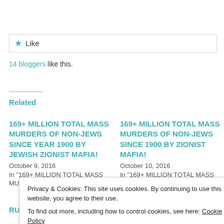[Figure (other): Like button widget with star icon and dotted border]
14 bloggers like this.
Related
169+ MILLION TOTAL MASS MURDERS OF NON-JEWS SINCE YEAR 1900 BY JEWISH ZIONIST MAFIA!
October 9, 2016
In "169+ MILLION TOTAL MASS MURDERS OF NON-
169+ MILLION TOTAL MASS MURDERS OF NON-JEWS SINCE 1900 BY ZIONIST MAFIA!
October 10, 2016
In "169+ MILLION TOTAL MASS MURDERS OF NON-
RUSSIAN MAFIA = RED
Privacy & Cookies: This site uses cookies. By continuing to use this website, you agree to their use.
To find out more, including how to control cookies, see here: Cookie Policy